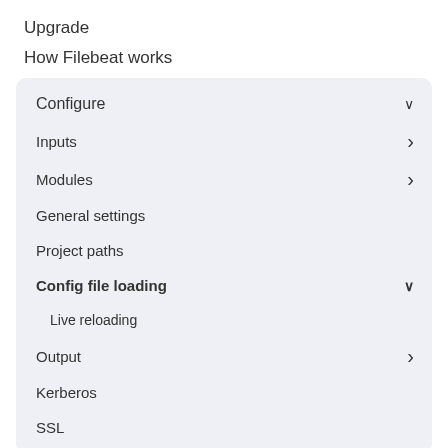Upgrade
How Filebeat works
Configure
Inputs
Modules
General settings
Project paths
Config file loading
Live reloading
Output
Kerberos
SSL